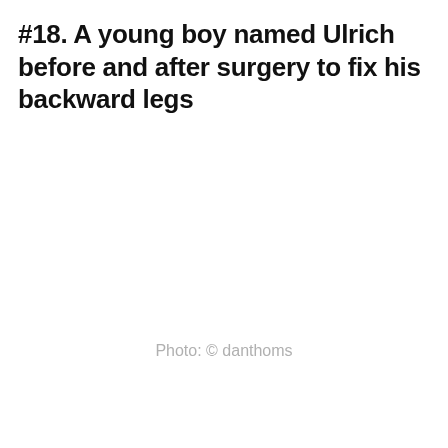#18. A young boy named Ulrich before and after surgery to fix his backward legs
Photo: © danthoms